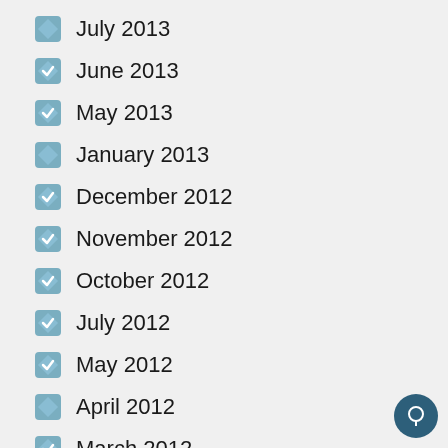July 2013
June 2013
May 2013
January 2013
December 2012
November 2012
October 2012
July 2012
May 2012
April 2012
March 2012
January 2012